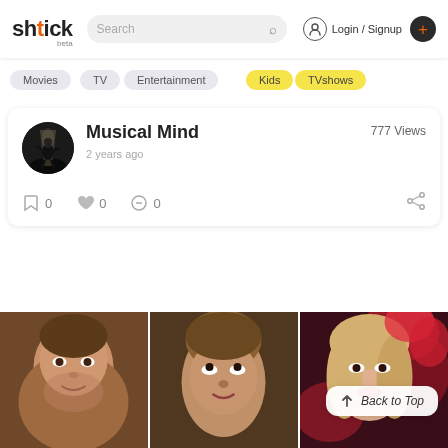shtick beta | Search | Login / Signup
Movies
TV
Entertainment
Kids
TVshows
Musical Mind
2 years ago
777 Views
0  0  0
[Figure (screenshot): Bottom row of three movie/celebrity portrait images]
Back to Top